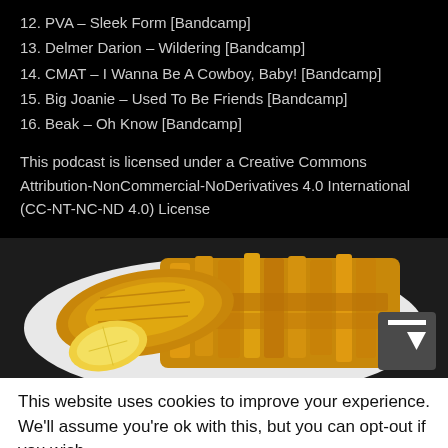12. PVA – Sleek Form [Bandcamp]
13. Delmer Darion – Wildering [Bandcamp]
14. CMAT – I Wanna Be A Cowboy, Baby! [Bandcamp]
15. Big Joanie – Used To Be Friends [Bandcamp]
16. Beak – Oh Know [Bandcamp]
This podcast is licensed under a Creative Commons Attribution-NonCommercial-NoDerivatives 4.0 International (CC-NT-NC-ND 4.0) License
[Figure (photo): Photo of battered fish fillet with chips (French fries) and a lemon wedge on a white plate, dark background. A dark grey scroll-to-top button with white arrow icon is overlaid on the bottom-right corner.]
This website uses cookies to improve your experience. We'll assume you're ok with this, but you can opt-out if you wish.
Cookie settings    ACCEPT